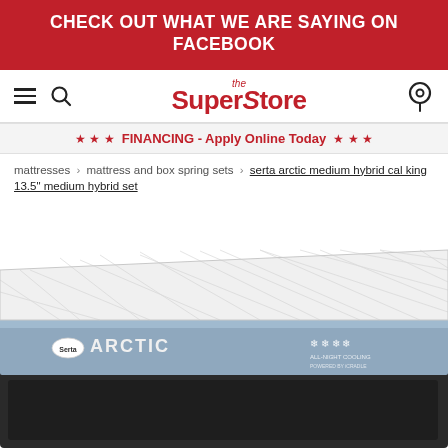CHECK OUT WHAT WE ARE SAYING ON FACEBOOK
[Figure (logo): the SuperStore logo with hamburger menu, search icon, and location pin icon]
★ ★ ★  FINANCING - Apply Online Today  ★ ★ ★
mattresses › mattress and box spring sets › serta arctic medium hybrid cal king 13.5" medium hybrid set
[Figure (photo): Serta Arctic medium hybrid mattress on box spring, showing white quilted top and blue/grey sides with Serta Arctic branding and All-Night Cooling icons]